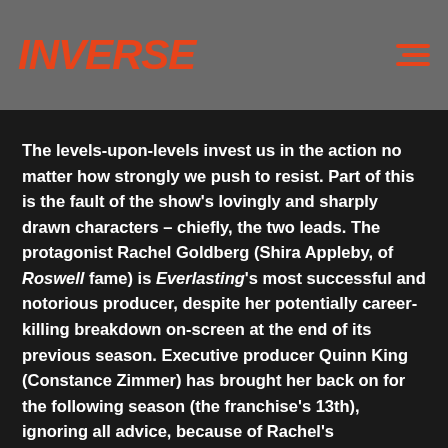INVERSE
The levels-upon-levels invest us in the action no matter how strongly we push to resist. Part of this is the fault of the show's lovingly and sharply drawn characters – chiefly, the two leads. The protagonist Rachel Goldberg (Shira Appleby, of Roswell fame) is Everlasting's most successful and notorious producer, despite her potentially career-killing breakdown on-screen at the end of its previous season. Executive producer Quinn King (Constance Zimmer) has brought her back on for the following season (the franchise's 13th), ignoring all advice, because of Rachel's exceptional abilities. She is